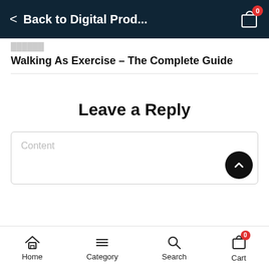Back to Digital Prod...
Walking As Exercise – The Complete Guide
Leave a Reply
Content
Home  Category  Search  Cart